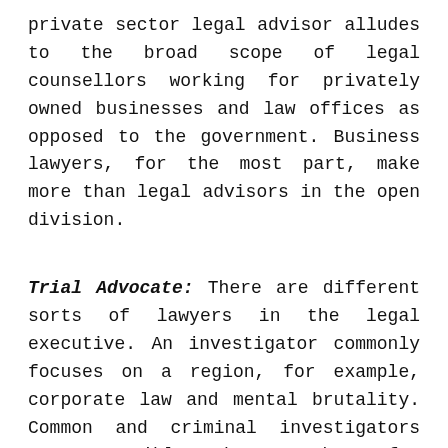private sector legal advisor alludes to the broad scope of legal counsellors working for privately owned businesses and law offices as opposed to the government. Business lawyers, for the most part, make more than legal advisors in the open division.
Trial Advocate: There are different sorts of lawyers in the legal executive. An investigator commonly focuses on a region, for example, corporate law and mental brutality. Common and criminal investigators are accessible. The procedures for each type of jury are generally to some degree explicit, even though the rules of verification are indistinguishable.
Legal counsellor for Estate Planning: Estate